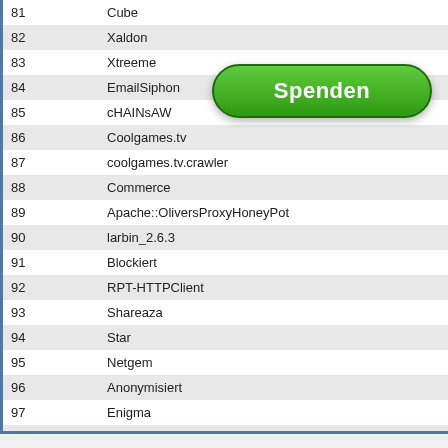| # | Name |
| --- | --- |
| 81 | Cube |
| 82 | Xaldon |
| 83 | Xtreeme |
| 84 | EmailSiphon |
| 85 | cHAINsAW |
| 86 | Coolgames.tv |
| 87 | coolgames.tv.crawler |
| 88 | Commerce |
| 89 | Apache::OliversProxyHoneyPot |
| 90 | larbin_2.6.3 |
| 91 | Blockiert |
| 92 | RPT-HTTPClient |
| 93 | Shareaza |
| 94 | Star |
| 95 | Netgem |
| 96 | Anonymisiert |
| 97 | Enigma |
| 98 | ::ELNSB50::000081100320025802790160000000000507000... |
| 99 | ::ELNSB50::000041100320025803 1a018f0000000000505000b... |
| 100 | beta_release |
| Total: |  |
| 153 |  |
[Figure (other): Green donate button labeled 'Spenden']